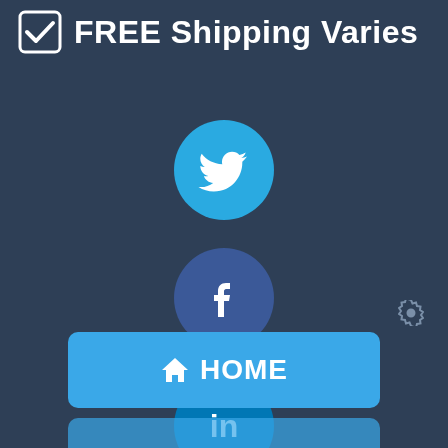FREE Shipping Varies
[Figure (logo): Twitter social media icon - blue circle with white bird]
[Figure (logo): Facebook social media icon - dark blue circle with white f]
[Figure (logo): LinkedIn social media icon - blue circle with white 'in']
[Figure (other): Gear/settings icon in grey on dark background]
HOME